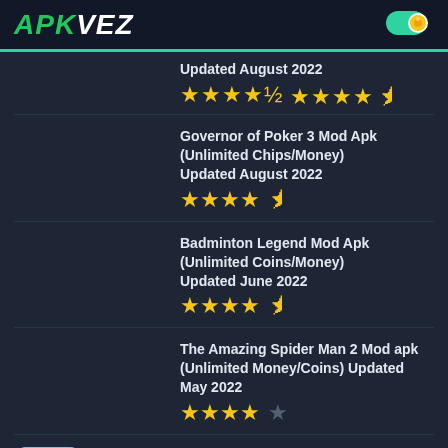APKVEZ
Updated August 2022
★★★★½
Governor of Poker 3 Mod Apk (Unlimited Chips/Money) Updated August 2022 ★★★★½
Badminton Legend Mod Apk (Unlimited Coins/Money) Updated June 2022 ★★★★½
The Amazing Spider Man 2 Mod apk (Unlimited Money/Coins) Updated May 2022 ★★★★☆
Ice Age Village Mod Apk (Unlimited Acorns/Money) Updated May 2022